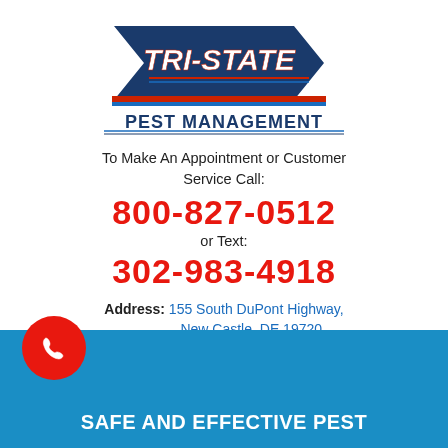[Figure (logo): Tri-State Pest Management logo with blue and red chevron/arrow design and bold text]
To Make An Appointment or Customer Service Call:
800-827-0512
or Text:
302-983-4918
Address: 155 South DuPont Highway, New Castle, DE 19720
[Figure (illustration): Red circular phone call button icon in bottom left corner]
SAFE AND EFFECTIVE PEST